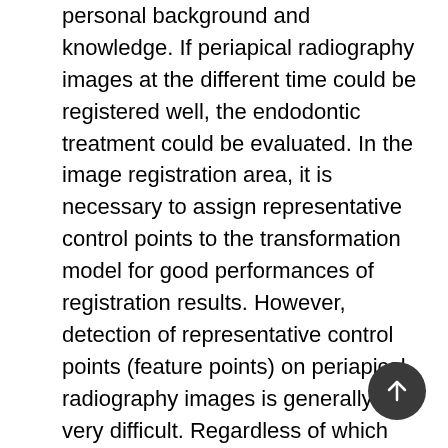personal background and knowledge. If periapical radiography images at the different time could be registered well, the endodontic treatment could be evaluated. In the image registration area, it is necessary to assign representative control points to the transformation model for good performances of registration results. However, detection of representative control points (feature points) on periapical radiography images is generally very difficult. Regardless of which traditional detection methods are practiced, sufficient feature points may not be detected due to the low-contrast characteristics of the x-ray image. Barnard detector is an algorithm for feature point detection based on grayscale value gradients, which can obtain sufficient feature points in the case of gray-scale contrast is not obvious. However, the Barnard detector would detect too many feature points, and they would be too clustered. This